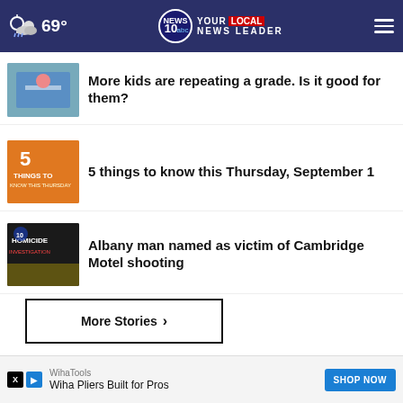69° NEWS 10 YOUR LOCAL NEWS LEADER
More kids are repeating a grade. Is it good for them?
5 things to know this Thursday, September 1
Albany man named as victim of Cambridge Motel shooting
More Stories ›
[Figure (screenshot): Advertisement banner: It's not too late to take charge]
WihaTools
Wiha Pliers Built for Pros
SHOP NOW